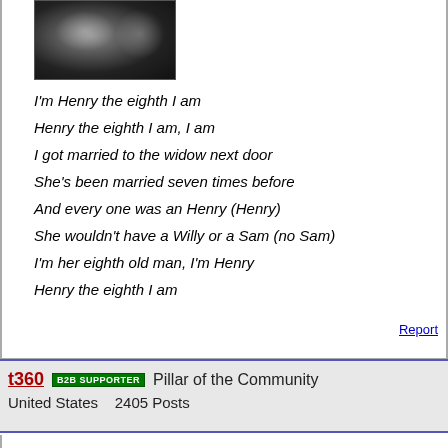[Figure (photo): Photograph of two coins, mostly dark/black background, partially visible coin edges with metallic sheen]
I'm Henry the eighth I am
Henry the eighth I am, I am
I got married to the widow next door
She's been married seven times before
And every one was an Henry (Henry)
She wouldn't have a Willy or a Sam (no Sam)
I'm her eighth old man, I'm Henry
Henry the eighth I am
Report
t360  B2B SUPPORTER  Pillar of the Community
United States  2405 Posts